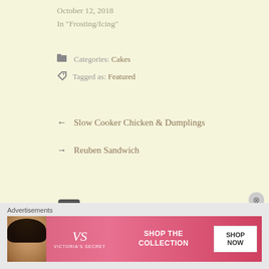October 12, 2018
In "Frosting/Icing"
Categories: Cakes
Tagged as: Featured
← Slow Cooker Chicken & Dumplings
→ Reuben Sandwich
12 Comments »
Judy
March 4, 2017 at 12:24 PM
Advertisements
[Figure (other): Victoria's Secret advertisement banner with model, VS logo, SHOP THE COLLECTION text, and SHOP NOW button]